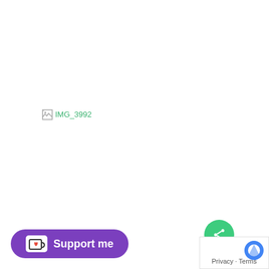[Figure (other): Broken image placeholder showing 'IMG_3992' text in green with broken image icon]
[Figure (other): Purple rounded button with Ko-fi cup icon and text 'Support me']
[Figure (other): Green circular share button with share icon]
[Figure (other): Privacy - Terms overlay box with reCAPTCHA logo]